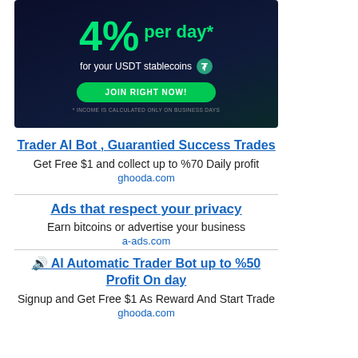[Figure (advertisement): Dark navy background ad banner showing '4% per day* for your USDT stablecoins' with a green JOIN RIGHT NOW! button and fine print '* INCOME IS CALCULATED ONLY ON BUSINESS DAYS']
Trader AI Bot , Guarantied Success Trades
Get Free $1 and collect up to %70 Daily profit
ghooda.com
Ads that respect your privacy
Earn bitcoins or advertise your business
a-ads.com
🔊 AI Automatic Trader Bot up to %50 Profit On day
Signup and Get Free $1 As Reward And Start Trade
ghooda.com